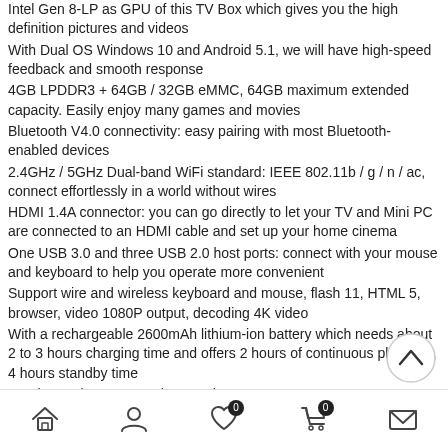Intel Gen 8-LP as GPU of this TV Box which gives you the high definition pictures and videos
With Dual OS Windows 10 and Android 5.1, we will have high-speed feedback and smooth response
4GB LPDDR3 + 64GB / 32GB eMMC, 64GB maximum extended capacity. Easily enjoy many games and movies
Bluetooth V4.0 connectivity: easy pairing with most Bluetooth-enabled devices
2.4GHz / 5GHz Dual-band WiFi standard: IEEE 802.11b / g / n / ac, connect effortlessly in a world without wires
HDMI 1.4A connector: you can go directly to let your TV and Mini PC are connected to an HDMI cable and set up your home cinema
One USB 3.0 and three USB 2.0 host ports: connect with your mouse and keyboard to help you operate more convenient
Support wire and wireless keyboard and mouse, flash 11, HTML 5, browser, video 1080P output, decoding 4K video
With a rechargeable 2600mAh lithium-ion battery which needs about 2 to 3 hours charging time and offers 2 hours of continuous playback, 4 hours standby time
Touch panel: G + P, 5 points touch, easy to operate
We have 2 different power adapter optional: US plug, EU plug
Specification
General
Brand: HIGOLE
[Figure (other): Scroll-to-top circular button icon]
Navigation bar with home, account, wishlist (0), cart (0), and mail icons